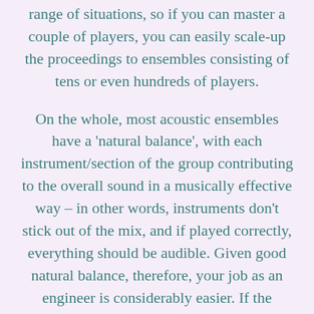range of situations, so if you can master a couple of players, you can easily scale-up the proceedings to ensembles consisting of tens or even hundreds of players.
On the whole, most acoustic ensembles have a 'natural balance', with each instrument/section of the group contributing to the overall sound in a musically effective way – in other words, instruments don't stick out of the mix, and if played correctly, everything should be audible. Given good natural balance, therefore, your job as an engineer is considerably easier. If the ensemble isn't naturally balanced, you've got a harder job on your hands, and you might consider screening or even